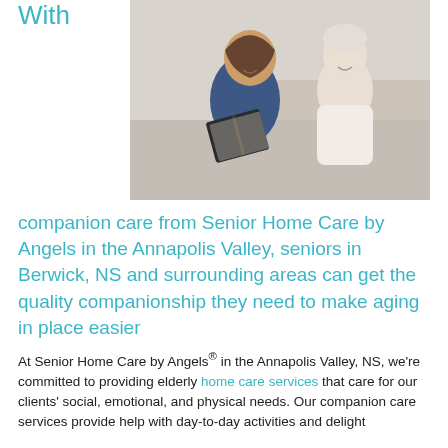With
[Figure (photo): A younger woman (caregiver/nurse) in a navy top holding an open book and reading with an elderly white-haired woman in a light top, both smiling, seated together on a light-colored sofa.]
companion care from Senior Home Care by Angels in the Annapolis Valley, seniors in Berwick, NS and surrounding areas can get the quality companionship they need to make aging in place easier
At Senior Home Care by Angels® in the Annapolis Valley, NS, we're committed to providing elderly home care services that care for our clients' social, emotional, and physical needs. Our companion care services provide help with day-to-day activities and delight